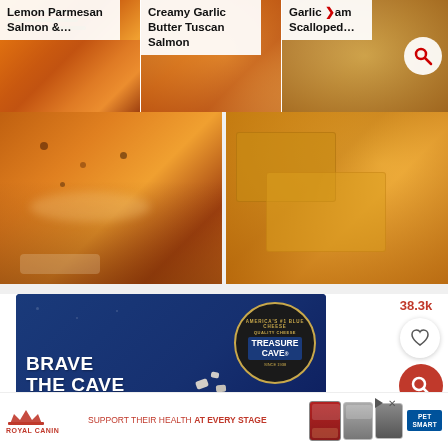[Figure (screenshot): Screenshot of a recipe search results page showing food images in a grid with overlaid text labels]
Lemon Parmesan Salmon &…
Creamy Garlic Butter Tuscan Salmon
Garlic Parm Scalloped…
[Figure (photo): Close-up of baked cheesy salmon fillet on a baking dish]
[Figure (photo): Close-up of golden cornbread slices stacked]
[Figure (photo): Treasure Cave blue cheese advertisement: BRAVE THE CAVE with Treasure Cave crumbled blue cheese product]
38.3k
[Figure (photo): Royal Canin advertisement: SUPPORT THEIR HEALTH AT EVERY STAGE with pet food packages and PetSmart logo]